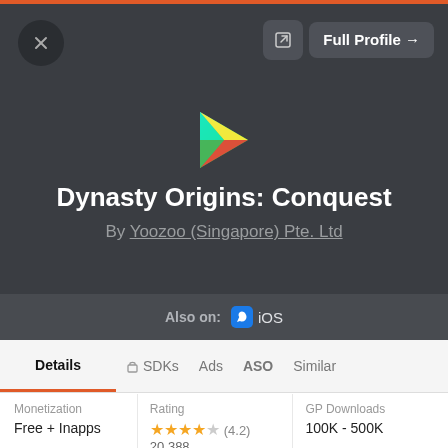[Figure (screenshot): App analytics profile card for Dynasty Origins: Conquest on Google Play, showing app title, publisher, platform availability (iOS), tabs (Details, SDKs, Ads, ASO, Similar), and metrics (Monetization: Free + Inapps, Rating: 4.2 stars / 20,388 reviews, GP Downloads: 100K - 500K)]
Dynasty Origins: Conquest
By Yoozoo (Singapore) Pte. Ltd
Also on: iOS
Details  SDKs  Ads  ASO  Similar
Monetization
Free + Inapps
Rating
★★★★☆ (4.2)
20,388
GP Downloads
100K - 500K